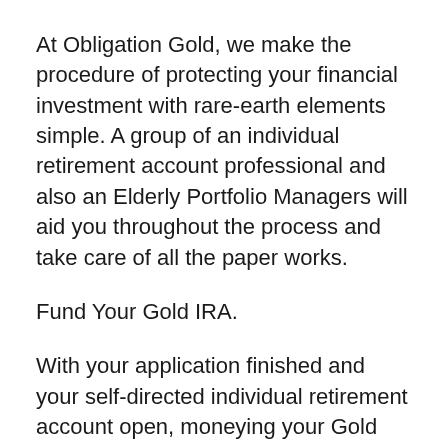At Obligation Gold, we make the procedure of protecting your financial investment with rare-earth elements simple. A group of an individual retirement account professional and also an Elderly Portfolio Managers will aid you throughout the process and take care of all the paper works.
Fund Your Gold IRA.
With your application finished and your self-directed individual retirement account open, moneying your Gold individual retirement account can not get easier. Funding the account is simple as well as can be finished by among the three methods: